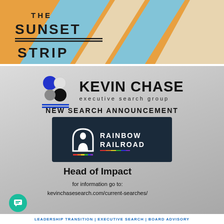[Figure (illustration): The Sunset Strip colorful banner with orange, blue, and beige diagonal stripes and text 'THE SUNSET STRIP']
[Figure (logo): Kevin Chase Executive Search Group logo with blue, gray and black overlapping circles]
NEW SEARCH ANNOUNCEMENT
[Figure (logo): Rainbow Railroad logo - dark navy box with arch icon and text 'RAINBOW RAILROAD' with rainbow colored underline]
Head of Impact
for information go to:
kevinchasesearch.com/current-searches/
LEADERSHIP TRANSITION | EXECUTIVE SEARCH | BOARD ADVISORY